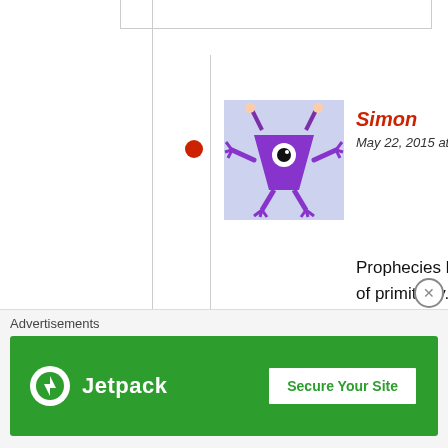[Figure (illustration): Avatar image of a cartoon purple alien/monster character on light blue background]
Simon
May 22, 2015 at 9:46 pm
Prophecies lives in realm of primitivity. Since God does not exist, would prophecies even make any sense. Riek have already ruined his last chance. So nuer, you are highly likely to die without seeing riek ascending to power. I also question riek educational background since
Advertisements
[Figure (screenshot): Jetpack advertisement banner with green background showing Jetpack logo and 'Secure Your Site' button]